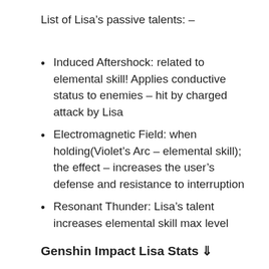List of Lisa's passive talents: –
Induced Aftershock: related to elemental skill! Applies conductive status to enemies – hit by charged attack by Lisa
Electromagnetic Field: when holding(Violet's Arc – elemental skill); the effect – increases the user's defense and resistance to interruption
Resonant Thunder: Lisa's talent increases elemental skill max level
Genshin Impact Lisa Stats ⇓